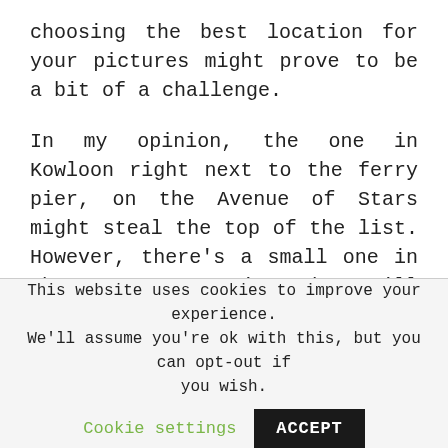choosing the best location for your pictures might prove to be a bit of a challenge.
In my opinion, the one in Kowloon right next to the ferry pier, on the Avenue of Stars might steal the top of the list. However, there's a small one in the Monster Mansion that will offer you the chance to see a pretty cafe, drink a good coffee, and tick off your list one of the
This website uses cookies to improve your experience. We'll assume you're ok with this, but you can opt-out if you wish. Cookie settings ACCEPT